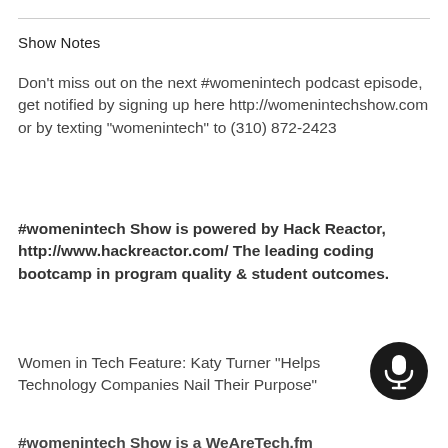Show Notes
Don't miss out on the next #womenintech podcast episode, get notified by signing up here http://womenintechshow.com or by texting "womenintech" to (310) 872-2423
#womenintech Show is powered by Hack Reactor, http://www.hackreactor.com/ The leading coding bootcamp in program quality & student outcomes.
Women in Tech Feature: Katy Turner "Helps Technology Companies Nail Their Purpose"
#womenintech Show is a WeAreTech.fm